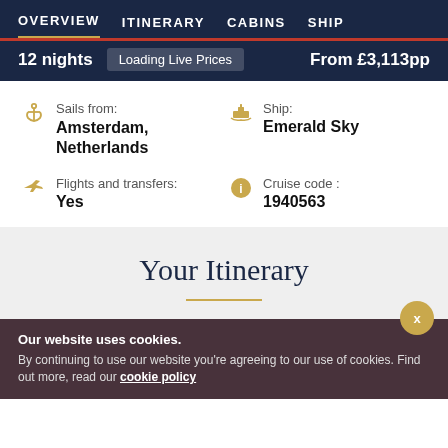OVERVIEW  ITINERARY  CABINS  SHIP
12 nights  Loading Live Prices  From £3,113pp
Sails from: Amsterdam, Netherlands
Ship: Emerald Sky
Flights and transfers: Yes
Cruise code : 1940563
Your Itinerary
Our website uses cookies. By continuing to use our website you're agreeing to our use of cookies. Find out more, read our cookie policy